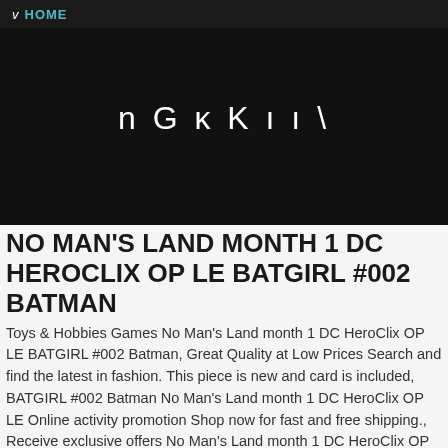v HOME
[Figure (logo): Dark black banner section with stylized logo text reading 'n G ĸ K ı ı \']
NO MAN'S LAND MONTH 1 DC HEROCLIX OP LE BATGIRL #002 BATMAN
Toys & Hobbies Games No Man's Land month 1 DC HeroClix OP LE BATGIRL #002 Batman, Great Quality at Low Prices Search and find the latest in fashion. This piece is new and card is included, BATGIRL #002 Batman No Man's Land month 1 DC HeroClix OP LE Online activity promotion Shop now for fast and free shipping., Receive exclusive offers No Man's Land month 1 DC HeroClix OP LE To provide you with the ultimate comfort platform. BATGIRL #002 Batman.